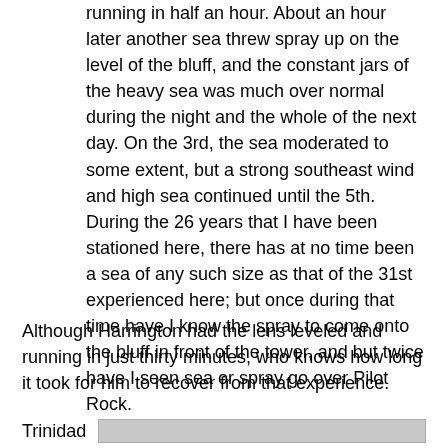running in half an hour. About an hour later another sea threw spray up on the level of the bluff, and the constant jars of the heavy sea was much over normal during the night and the whole of the next day. On the 3rd, the sea moderated to some extent, but a strong southeast wind and high sea continued until the 5th. During the 26 years that I have been stationed here, there has at no time been a sea of any such size as that of the 31st experienced here; but once during that time have I know the spray to come onto the bluff in front of the tower, and but twice have I seen sea or spray go over Pilot Rock.
Although Harrington had the lens leveled and running in just thirty minutes, who knows how long it took for him to recover from that experience.
Trinidad